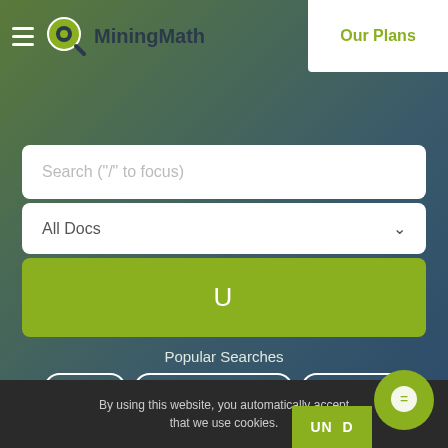MiningMath | Our Plans
Search ("/" to focus)
All Docs
U
Popular Searches
Interface
Geometric constraints
Time frames
By using this website, you automatically accept that we use cookies.